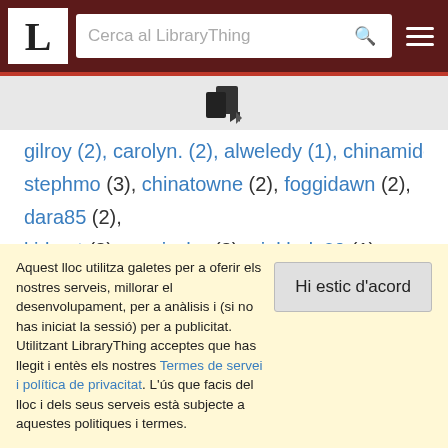LibraryThing - navigation bar with logo and search
[Figure (logo): LibraryThing book icon/logo in gray area]
gilroy (2), carolyn. (2), alweledy (1), chinamiddy (1),
stephmo (3), chinatowne (2), foggidawn (2), dara85 (2), kirkeet (2), zmeischa (2), pinklady60 (1), Sarah3969 (1), SimoneA (1), Boona (1), OCooley (1), jefbra (1), leselotte (1), avatiakh (1), hannahchristine (1), timetorun (1), PuddinTame (1), SJaneDoe (1), smithli (1)
Aquest lloc utilitza galetes per a oferir els nostres serveis, millorar el desenvolupament, per a anàlisis i (si no has iniciat la sessió) per a publicitat. Utilitzant LibraryThing acceptes que has llegit i entès els nostres Termes de servei i política de privacitat. L'ús que facis del lloc i dels seus serveis està subjecte a aquestes politiques i termes.